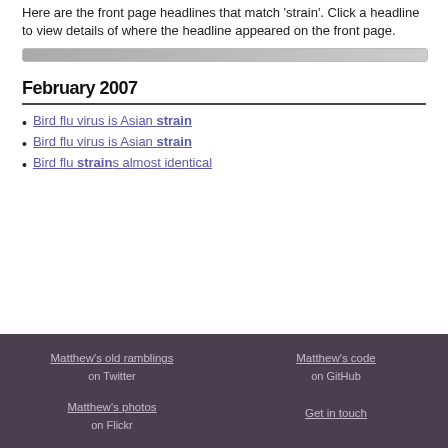Here are the front page headlines that match 'strain'. Click a headline to view details of where the headline appeared on the front page.
February 2007
Bird flu virus is Asian strain
Bird flu virus is Asian strain
Bird flu strains almost identical
Matthew's old ramblings on Twitter | Matthew's code on GitHub | Matthew's photos on Flickr | Get in touch